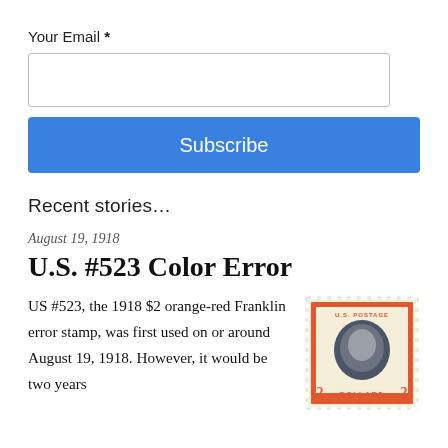Your Email *
[email input field]
Subscribe
Recent stories…
August 19, 1918
U.S. #523 Color Error
US #523, the 1918 $2 orange-red Franklin error stamp, was first used on or around August 19, 1918. However, it would be two years before the error was discovered.
[Figure (illustration): A US postage stamp showing the 1918 $2 orange-red Franklin error stamp (US #523) with a portrait of Benjamin Franklin in dark blue/black on an orange-red frame, denominated $2 DOLLARS, with perforated edges.]